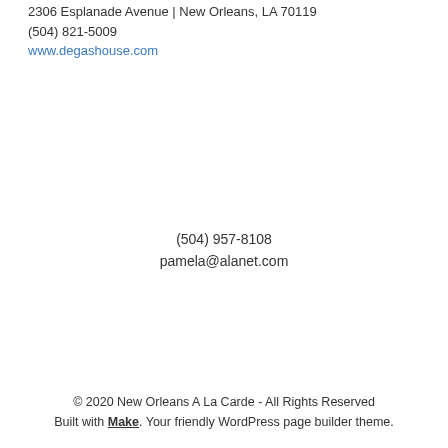2306 Esplanade Avenue | New Orleans, LA 70119
(504) 821-5009
www.degashouse.com
(504) 957-8108
pamela@alanet.com
© 2020 New Orleans A La Carde - All Rights Reserved
Built with Make. Your friendly WordPress page builder theme.